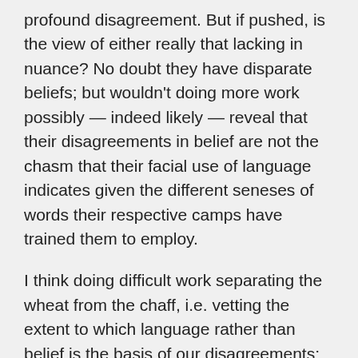profound disagreement. But if pushed, is the view of either really that lacking in nuance? No doubt they have disparate beliefs; but wouldn't doing more work possibly — indeed likely — reveal that their disagreements in belief are not the chasm that their facial use of language indicates given the different seneses of words their respective camps have trained them to employ.
I think doing difficult work separating the wheat from the chaff, i.e. vetting the extent to which language rather than belief is the basis of our disagreements; beginning with a presumption that on abstract subjects loose use of language prevails, should be a discipline taught in Public School right up there with Math, Science, English and History. A call for the rise of Action